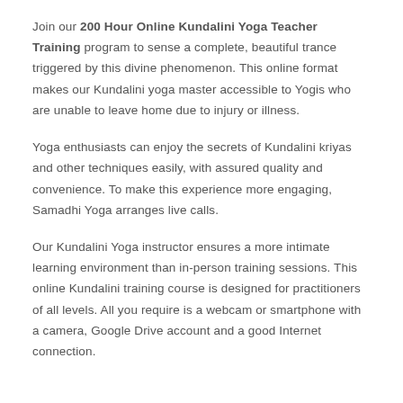Join our 200 Hour Online Kundalini Yoga Teacher Training program to sense a complete, beautiful trance triggered by this divine phenomenon. This online format makes our Kundalini yoga master accessible to Yogis who are unable to leave home due to injury or illness.
Yoga enthusiasts can enjoy the secrets of Kundalini kriyas and other techniques easily, with assured quality and convenience. To make this experience more engaging, Samadhi Yoga arranges live calls.
Our Kundalini Yoga instructor ensures a more intimate learning environment than in-person training sessions. This online Kundalini training course is designed for practitioners of all levels. All you require is a webcam or smartphone with a camera, Google Drive account and a good Internet connection.